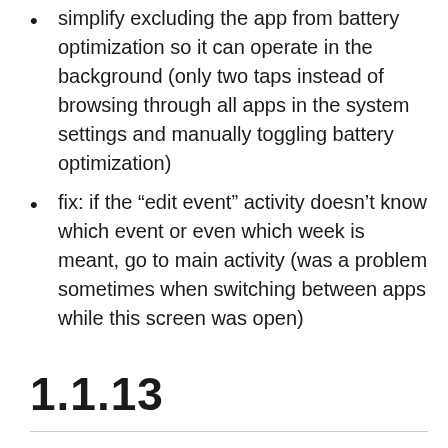simplify excluding the app from battery optimization so it can operate in the background (only two taps instead of browsing through all apps in the system settings and manually toggling battery optimization)
fix: if the “edit event” activity doesn’t know which event or even which week is meant, go to main activity (was a problem sometimes when switching between apps while this screen was open)
1.1.13